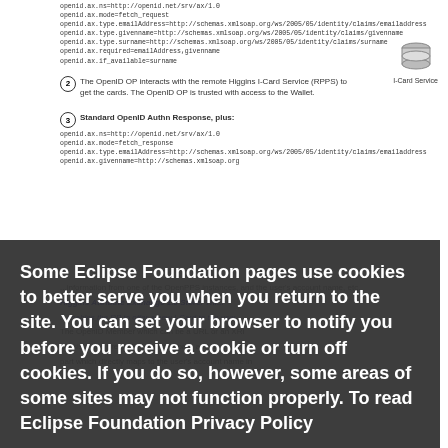[Figure (screenshot): Partial screenshot of a document showing OpenID/I-Card Service authentication steps with numbered circles, code blocks with openid.ax parameters, and an I-Card Service database icon. The diagram is partially obscured by a cookie consent overlay.]
Some Eclipse Foundation pages use cookies to better serve you when you return to the site. You can set your browser to notify you before you receive a cookie or turn off cookies. If you do so, however, some areas of some sites may not function properly. To read Eclipse Foundation Privacy Policy click here.
Decline
Allow cookies